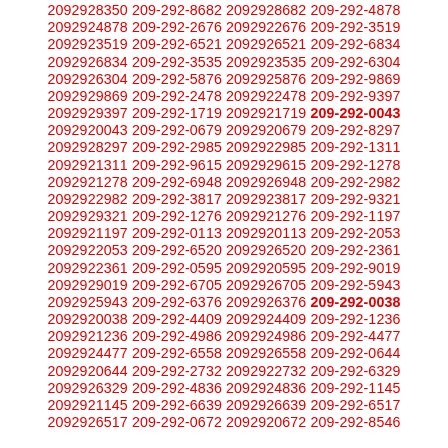2092928350 209-292-8682 2092928682 209-292-4878 2092924878 209-292-2676 2092922676 209-292-3519 2092923519 209-292-6521 2092926521 209-292-6834 2092926834 209-292-3535 2092923535 209-292-6304 2092926304 209-292-5876 2092925876 209-292-9869 2092929869 209-292-2478 2092922478 209-292-9397 2092929397 209-292-1719 2092921719 209-292-0043 2092920043 209-292-0679 2092920679 209-292-8297 2092928297 209-292-2985 2092922985 209-292-1311 2092921311 209-292-9615 2092929615 209-292-1278 2092921278 209-292-6948 2092926948 209-292-2982 2092922982 209-292-3817 2092923817 209-292-9321 2092929321 209-292-1276 2092921276 209-292-1197 2092921197 209-292-0113 2092920113 209-292-2053 2092922053 209-292-6520 2092926520 209-292-2361 2092922361 209-292-0595 2092920595 209-292-9019 2092929019 209-292-6705 2092926705 209-292-5943 2092925943 209-292-6376 2092926376 209-292-0038 2092920038 209-292-4409 2092924409 209-292-1236 2092921236 209-292-4986 2092924986 209-292-4477 2092924477 209-292-6558 2092926558 209-292-0644 2092920644 209-292-2732 2092922732 209-292-6329 2092926329 209-292-4836 2092924836 209-292-1145 2092921145 209-292-6639 2092926639 209-292-6517 2092926517 209-292-0672 2092920672 209-292-8546